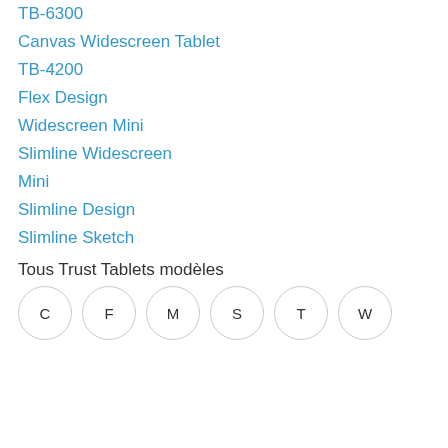TB-6300
Canvas Widescreen Tablet
TB-4200
Flex Design
Widescreen Mini
Slimline Widescreen
Mini
Slimline Design
Slimline Sketch
Tous Trust Tablets modèles
[Figure (other): Row of six circular letter buttons labeled C, F, M, S, T, W]